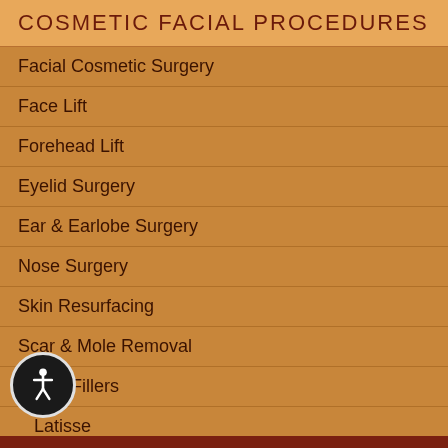COSMETIC FACIAL PROCEDURES
Facial Cosmetic Surgery
Face Lift
Forehead Lift
Eyelid Surgery
Ear & Earlobe Surgery
Nose Surgery
Skin Resurfacing
Scar & Mole Removal
Facial Fillers
Latisse
Botox
Special Instructions